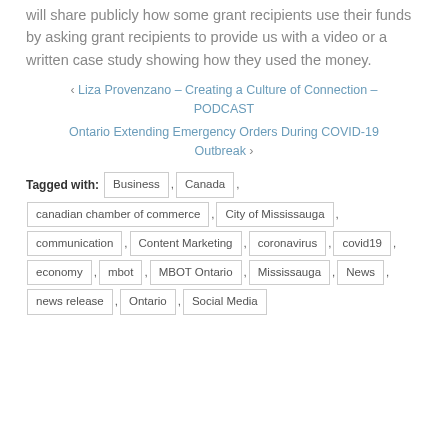will share publicly how some grant recipients use their funds by asking grant recipients to provide us with a video or a written case study showing how they used the money.
‹ Liza Provenzano – Creating a Culture of Connection – PODCAST
Ontario Extending Emergency Orders During COVID-19 Outbreak ›
Tagged with: Business , Canada , canadian chamber of commerce , City of Mississauga , communication , Content Marketing , coronavirus , covid19 , economy , mbot , MBOT Ontario , Mississauga , News , news release , Ontario , Social Media